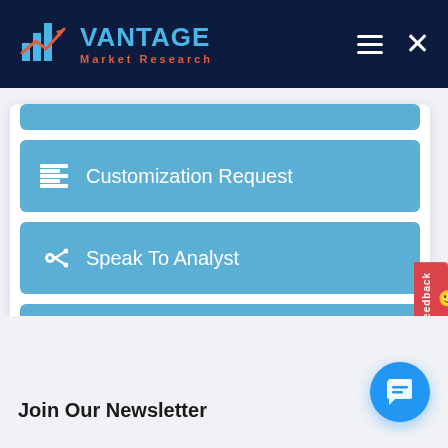Vantage Market Research
Customization Request
Speak To Analyst
Inquiry Before Buying
Join Our Newsletter